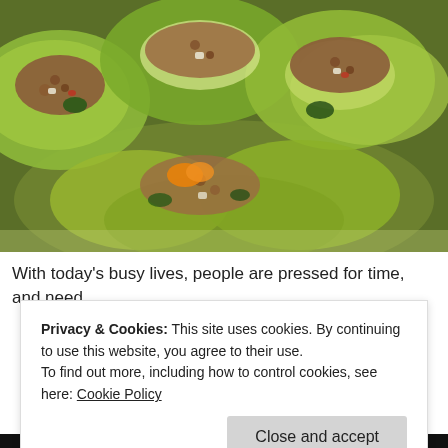[Figure (photo): Close-up photo of lettuce wraps filled with ground meat, herbs, and vegetables on a plate]
With today's busy lives, people are pressed for time, and need
Privacy & Cookies: This site uses cookies. By continuing to use this website, you agree to their use.
To find out more, including how to control cookies, see here: Cookie Policy